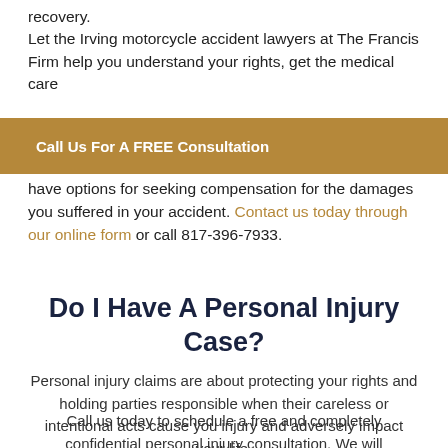recovery.
Let the Irving motorcycle accident lawyers at The Francis Firm help you understand your rights, get the medical care
Call Us For A FREE Consultation
have options for seeking compensation for the damages you suffered in your accident. Contact us today through our online form or call 817-396-7933.
Do I Have A Personal Injury Case?
Personal injury claims are about protecting your rights and holding parties responsible when their careless or intentional acts cause you injury and adversely impact your life.
Call us today to schedule a free and completely confidential personal injury consultation. We will